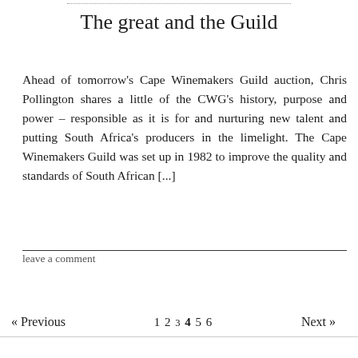The great and the Guild
Ahead of tomorrow's Cape Winemakers Guild auction, Chris Pollington shares a little of the CWG's history, purpose and power – responsible as it is for and nurturing new talent and putting South Africa's producers in the limelight. The Cape Winemakers Guild was set up in 1982 to improve the quality and standards of South African [...]
leave a comment
« Previous  1 2 3 4 5 6  Next »